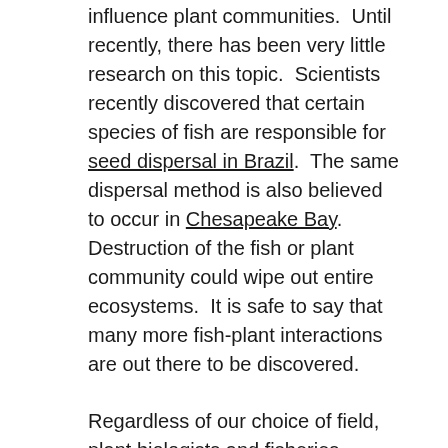influence plant communities.  Until recently, there has been very little research on this topic.  Scientists recently discovered that certain species of fish are responsible for seed dispersal in Brazil.  The same dispersal method is also believed to occur in Chesapeake Bay.  Destruction of the fish or plant community could wipe out entire ecosystems.  It is safe to say that many more fish-plant interactions are out there to be discovered.
Regardless of our choice of field, plant biologists and fisheries biologists may need to reconsider our distance.  Cooperation may prove a fruitful effort in restoring the plant and fish communities we all depend on.  With so many ailing fisheries and struggling plant communities around the...